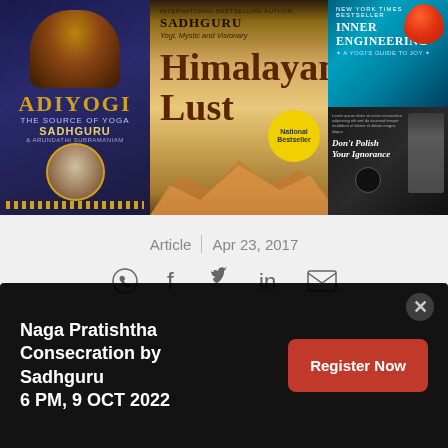[Figure (photo): Collage of Sadhguru book covers: Adiyogi (The Source of Yoga), Himalayan Lust (National Bestseller), Inner Engineering (New York Times Bestseller), and Don't Polish Your Ignorance]
Article | Apr 23, 2017
[Figure (infographic): Social media sharing icons: WhatsApp, Facebook, Twitter, LinkedIn, Email]
Naga Pratishtha Consecration by Sadhguru
6 PM, 9 OCT 2022
Register Now